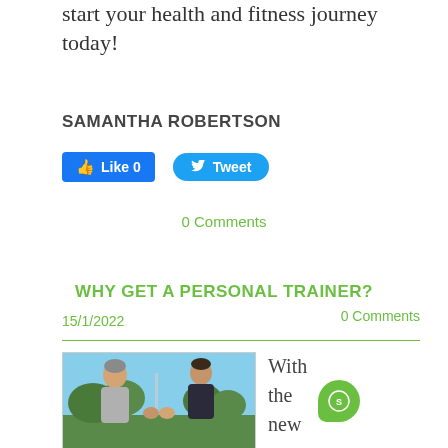start your health and fitness journey today!
SAMANTHA ROBERTSON
[Figure (screenshot): Facebook Like button (blue, count 0) and Twitter Tweet button (blue rounded)]
0 Comments
WHY GET A PERSONAL TRAINER?
0 Comments
15/1/2022
[Figure (photo): Two men outdoors on a sports field doing a fist bump. One older man in grey hoodie on left, younger man in dark jacket on right. Trees and blue sky in background.]
With the new year upon us, you